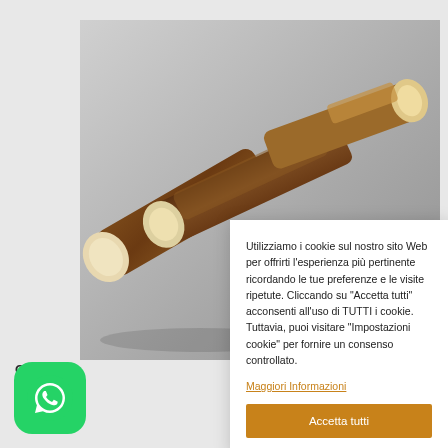[Figure (photo): Deer antler chew pieces (natural dog treats) on a gray background, showing brown and cream colored antler segments]
CORN
6.50€
[Figure (logo): WhatsApp logo - white phone icon on green rounded square background]
Utilizziamo i cookie sul nostro sito Web per offrirti l'esperienza più pertinente ricordando le tue preferenze e le visite ripetute. Cliccando su "Accetta tutti" acconsenti all'uso di TUTTI i cookie. Tuttavia, puoi visitare "Impostazioni cookie" per fornire un consenso controllato.
Maggiori Informazioni
Accetta tutti